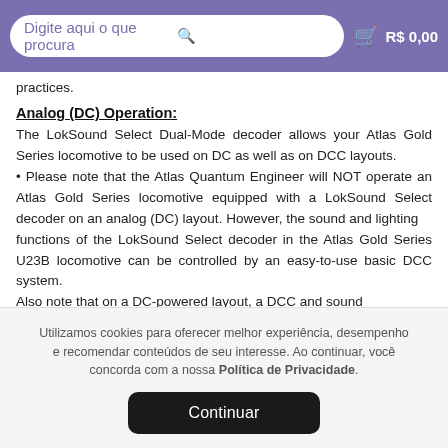Digite aqui o que procura | R$ 0,00
practices.
Analog (DC) Operation:
The LokSound Select Dual-Mode decoder allows your Atlas Gold Series locomotive to be used on DC as well as on DCC layouts.
• Please note that the Atlas Quantum Engineer will NOT operate an Atlas Gold Series locomotive equipped with a LokSound Select decoder on an analog (DC) layout. However, the sound and lighting
functions of the LokSound Select decoder in the Atlas Gold Series U23B locomotive can be controlled by an easy-to-use basic DCC system.
Also note that on a DC-powered layout, a DCC and sound
Utilizamos cookies para oferecer melhor experiência, desempenho e recomendar conteúdos de seu interesse. Ao continuar, você concorda com a nossa Política de Privacidade.
Continuar